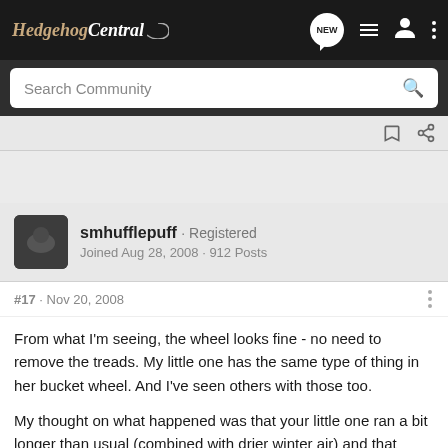Hedgehog Central
Search Community
smhufflepuff · Registered
Joined Aug 28, 2008 · 912 Posts
#17 · Nov 20, 2008
From what I'm seeing, the wheel looks fine - no need to remove the treads. My little one has the same type of thing in her bucket wheel. And I've seen others with those too.
My thought on what happened was that your little one ran a bit longer than usual (combined with drier winter air) and that caused a small abrasion on her foot or crack in the skin